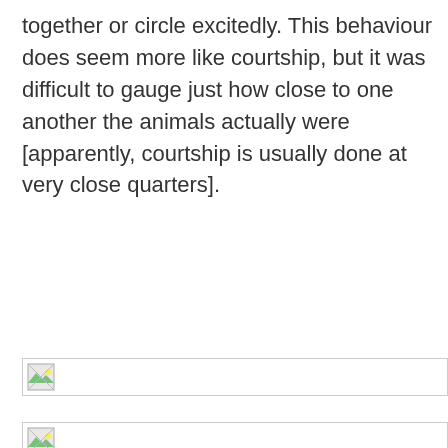together or circle excitedly. This behaviour does seem more like courtship, but it was difficult to gauge just how close to one another the animals actually were [apparently, courtship is usually done at very close quarters].
[Figure (photo): Broken image placeholder (image failed to load)]
[Figure (photo): Broken image placeholder (image failed to load)]